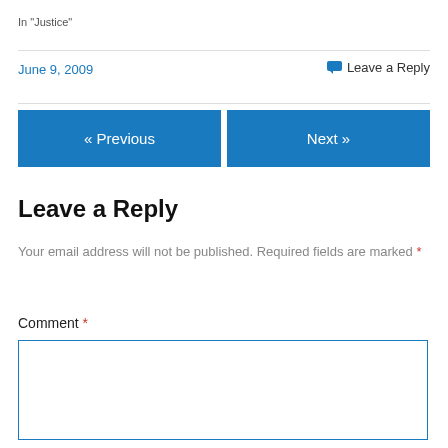In "Justice"
June 9, 2009
Leave a Reply
« Previous
Next »
Leave a Reply
Your email address will not be published. Required fields are marked *
Comment *